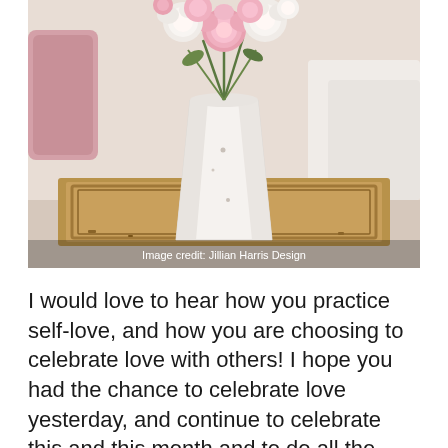[Figure (photo): A white ceramic vase with pink and white peonies/roses sitting on a rustic wooden tray. Soft pink pillows visible in the background on a bed. Image credit: Jillian Harris Design.]
Image credit: Jillian Harris Design
I would love to hear how you practice self-love, and how you are choosing to celebrate love with others! I hope you had the chance to celebrate love yesterday, and continue to celebrate this and this month and to do all the